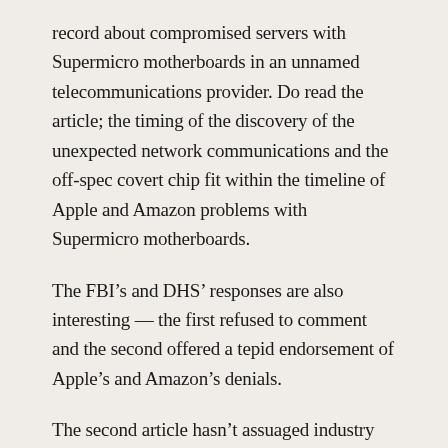record about compromised servers with Supermicro motherboards in an unnamed telecommunications provider. Do read the article; the timing of the discovery of the unexpected network communications and the off-spec covert chip fit within the timeline of Apple and Amazon problems with Supermicro motherboards.
The FBI’s and DHS’ responses are also interesting — the first refused to comment and the second offered a tepid endorsement of Apple’s and Amazon’s denials.
The second article hasn’t assuaged industry members or journalists, though, in spite of a source on the record about a third affected entity.
The main criticisms of Bloomberg piece are: